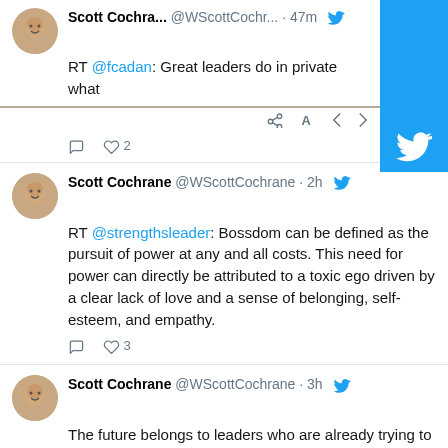[Figure (screenshot): Partial tweet from Scott Cochra... @WScottCochr... 47m: RT @fcadan: Great leaders do in private what]
RT @fcadan: Great leaders do in private what
[Figure (screenshot): Tweet from Scott Cochrane @WScottCochrane 2h: RT @strengthsleader: Bossdom can be defined as the pursuit of power at any and all costs. This need for power can directly be attributed to a toxic ego driven by a clear lack of love and a sense of belonging, self-esteem, and empathy. 3 likes]
RT @strengthsleader: Bossdom can be defined as the pursuit of power at any and all costs. This need for power can directly be attributed to a toxic ego driven by a clear lack of love and a sense of belonging, self-esteem, and empathy.
[Figure (screenshot): Tweet from Scott Cochrane @WScottCochrane 3h: The future belongs to leaders who are already trying to solve problems most people haven't even thought of yet. #Leadership]
The future belongs to leaders who are already trying to solve problems most people haven't even thought of yet.

#Leadership